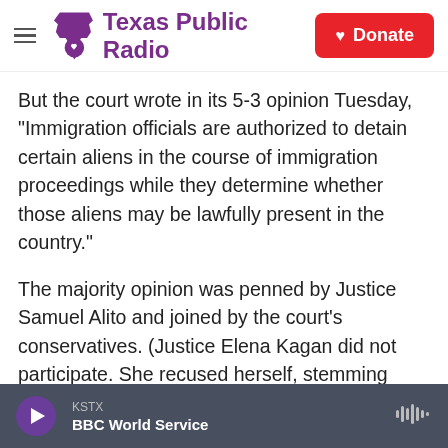Texas Public Radio [hamburger menu] [TPR logo] Donate
But the court wrote in its 5-3 opinion Tuesday, "Immigration officials are authorized to detain certain aliens in the course of immigration proceedings while they determine whether those aliens may be lawfully present in the country."
The majority opinion was penned by Justice Samuel Alito and joined by the court's conservatives. (Justice Elena Kagan did not participate. She recused herself, stemming from work she had done as former President Barack Obama's solicitor general.)
The decision overturns a Ninth Circuit ruling that thi
KSTX  BBC World Service